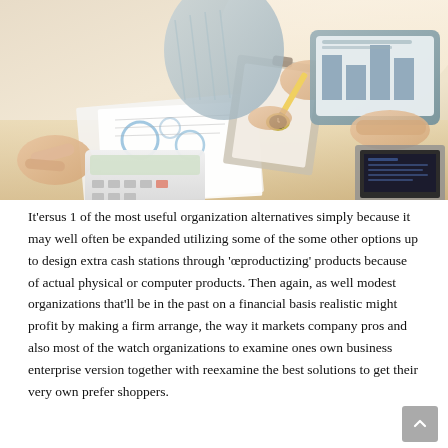[Figure (photo): Business meeting photo showing people around a desk with a calculator, papers with charts, a tablet displaying graphs, and a laptop. Hands visible pointing and holding items.]
It'ersus 1 of the most useful organization alternatives simply because it may well often be expanded utilizing some of the some other options up to design extra cash stations through 'œproductizing'​ products because of actual physical or computer products. Then again, as well modest organizations that'll be in the past on a financial basis realistic might profit by making a firm arrange, the way it markets company pros and also most of the watch organizations to examine ones own business enterprise version together with reexamine the best solutions to get their very own prefer shoppers.